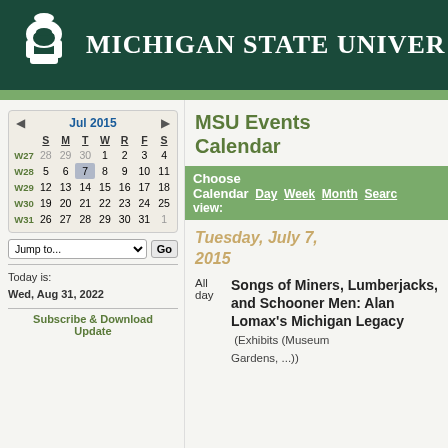MICHIGAN STATE UNIVERSITY
[Figure (illustration): Michigan State University Spartan helmet logo (white) on dark green background header]
MSU Events Calendar
|  | S | M | T | W | R | F | S |
| --- | --- | --- | --- | --- | --- | --- | --- |
| W27 | 28 | 29 | 30 | 1 | 2 | 3 | 4 |
| W28 | 5 | 6 | 7 | 8 | 9 | 10 | 11 |
| W29 | 12 | 13 | 14 | 15 | 16 | 17 | 18 |
| W30 | 19 | 20 | 21 | 22 | 23 | 24 | 25 |
| W31 | 26 | 27 | 28 | 29 | 30 | 31 | 1 |
Today is: Wed, Aug 31, 2022
Subscribe & Download Update
Choose Calendar view: Day Week Month Search
Tuesday, July 7, 2015
All day  Songs of Miners, Lumberjacks, and Schooner Men: Alan Lomax's Michigan Legacy (Exhibits (Museum Gardens, ...))